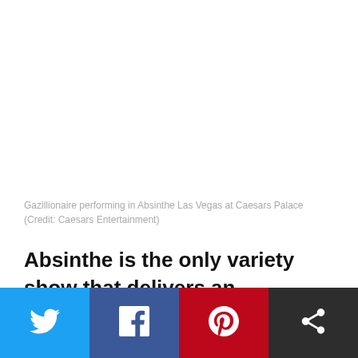Gazillionaire performing in Absinthe Las Vegas at Caesars Palace (Credit: Caesars Entertainment)
Absinthe is the only variety show that delivers an experience like no other.
[Figure (other): Social sharing buttons row: Twitter (blue), Facebook (dark blue), Pinterest (red), Share (dark gray)]